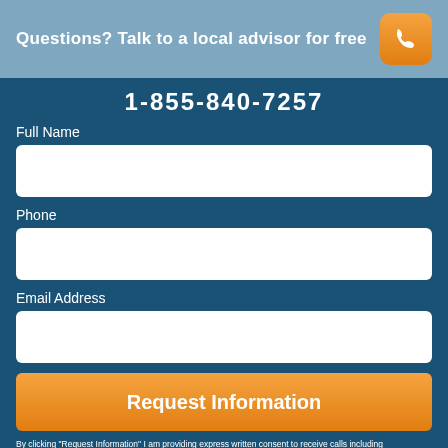Questions? Talk to a local advisor for free
1-855-840-7257
Full Name
Phone
Email Address
Request Information
By clicking "Request Information" I am providing express written consent to receive calls including automated/pre-recorded calls and automated texts for which I may incur a cost, as well as emails from Caring and its partners, about senior living solutions or Medicare insurance. I understand I am not obligated to provide this consent to utilize Caring's service(s). I acknowledge I was able to review the Agreement to be Contacted, Terms of Use, and Privacy Policy. This site is protected by reCAPTCHA and the Google Privacy Policy and Terms of Service apply.